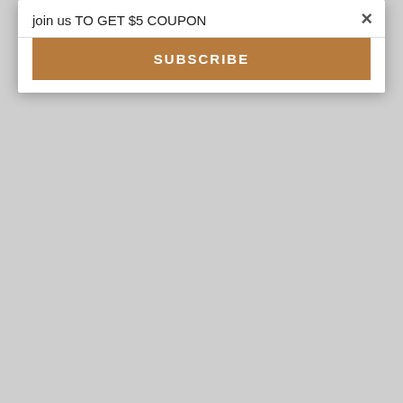join us TO GET $5 COUPON
×
SUBSCRIBE
[Figure (photo): Cosplay costume photo showing the lower half of a mannequin wearing Alice Madness Returns Misstitched Dress - white apron with PCOS logo, pink ruffled skirt, plaid waistband, green checkered sleeves, and black/white striped tights with black shoes, against a gray background.]
Alice: Madness Returns Misstitched Dress Cosplay Costume Y-0497 mp000492
$131.00
BUY NOW